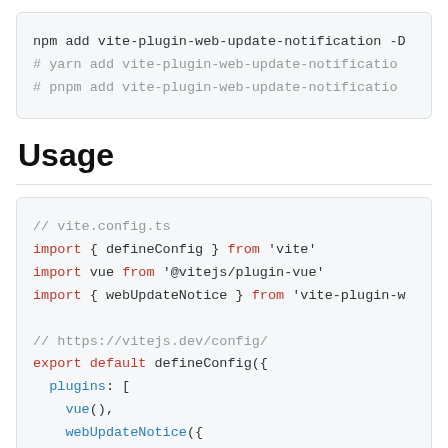npm add vite-plugin-web-update-notification -D
# yarn add vite-plugin-web-update-notification
# pnpm add vite-plugin-web-update-notification
Usage
// vite.config.ts
import { defineConfig } from 'vite'
import vue from '@vitejs/plugin-vue'
import { webUpdateNotice } from 'vite-plugin-w...

// https://vitejs.dev/config/
export default defineConfig({
  plugins: [
    vue(),
    webUpdateNotice({
      logHash: true,
    }),